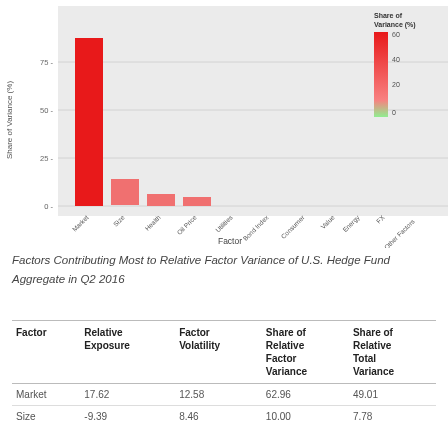[Figure (bar-chart): Factors Contributing Most to Relative Factor Variance]
Factors Contributing Most to Relative Factor Variance of U.S. Hedge Fund Aggregate in Q2 2016
| Factor | Relative Exposure | Factor Volatility | Share of Relative Factor Variance | Share of Relative Total Variance |
| --- | --- | --- | --- | --- |
| Market | 17.62 | 12.58 | 62.96 | 49.01 |
| Size | -9.39 | 8.46 | 10.00 | 7.78 |